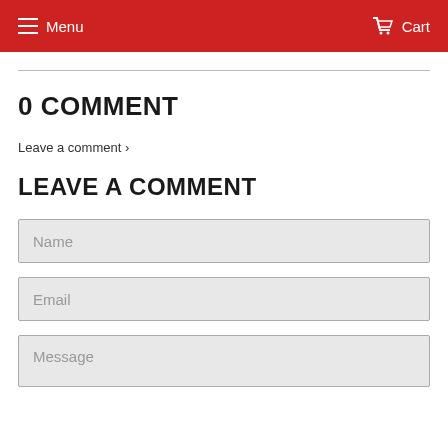Menu   Cart
0 COMMENT
Leave a comment ›
LEAVE A COMMENT
Name
Email
Message